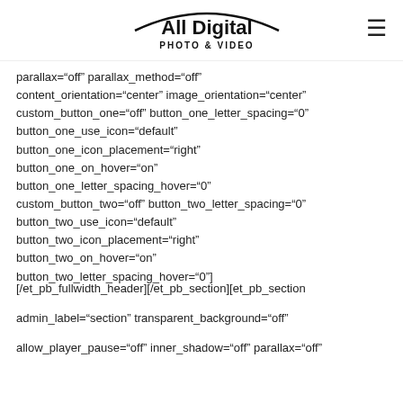All Digital PHOTO & VIDEO
parallax="off" parallax_method="off"
content_orientation="center" image_orientation="center"
custom_button_one="off" button_one_letter_spacing="0"
button_one_use_icon="default"
button_one_icon_placement="right"
button_one_on_hover="on"
button_one_letter_spacing_hover="0"
custom_button_two="off" button_two_letter_spacing="0"
button_two_use_icon="default"
button_two_icon_placement="right"
button_two_on_hover="on"
button_two_letter_spacing_hover="0"]
[/et_pb_fullwidth_header][/et_pb_section][et_pb_section
admin_label="section" transparent_background="off"
allow_player_pause="off" inner_shadow="off" parallax="off"